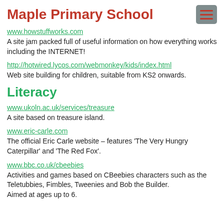Maple Primary School
A site jam packed full of useful information on how everything works including the INTERNET!
http://hotwired.lycos.com/webmonkey/kids/index.html
Web site building for children, suitable from KS2 onwards.
Literacy
www.ukoln.ac.uk/services/treasure
A site based on treasure island.
www.eric-carle.com
The official Eric Carle website – features 'The Very Hungry Caterpillar' and 'The Red Fox'.
www.bbc.co.uk/cbeebies
Activities and games based on CBeebies characters such as the Teletubbies, Fimbles, Tweenies and Bob the Builder. Aimed at ages up to 6.